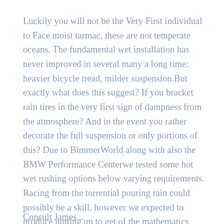Luckily you will not be the Very First individual to Face moist tarmac, these are not temperate oceans. The fundamental wet installation has never improved in several many a long time: heavier bicycle tread, milder suspension.But exactly what does this suggest? If you bracket rain tires in the very first sign of dampness from the atmosphere? And in the event you rather decorate the full suspension or only portions of this? Due to BimmerWorld along with also the BMW Performance Centerwe tested some hot wet rushing options below varying requirements. Racing from the torrential pouring rain could possibly be a skill, however we expected to produce putting up to get of the mathematics fiction.
Consult James...